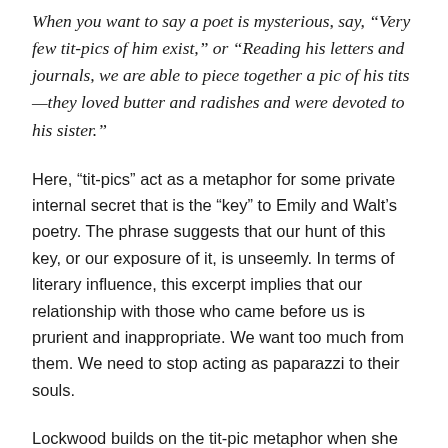When you want to say a poet is mysterious, say, “Very few tit-pics of him exist,” or “Reading his letters and journals, we are able to piece together a pic of his tits—they loved butter and radishes and were devoted to his sister.”
Here, “tit-pics” act as a metaphor for some private internal secret that is the “key” to Emily and Walt’s poetry. The phrase suggests that our hunt of this key, or our exposure of it, is unseemly. In terms of literary influence, this excerpt implies that our relationship with those who came before us is prurient and inappropriate. We want too much from them. We need to stop acting as paparazzi to their souls.
Lockwood builds on the tit-pic metaphor when she